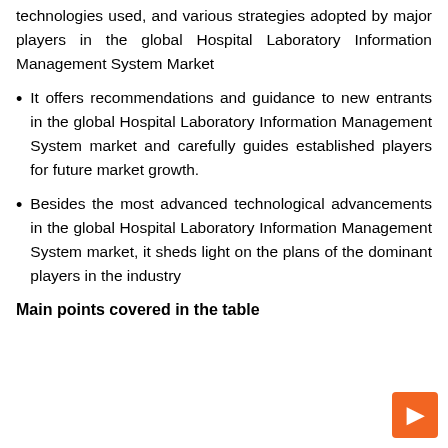technologies used, and various strategies adopted by major players in the global Hospital Laboratory Information Management System Market
It offers recommendations and guidance to new entrants in the global Hospital Laboratory Information Management System market and carefully guides established players for future market growth.
Besides the most advanced technological advancements in the global Hospital Laboratory Information Management System market, it sheds light on the plans of the dominant players in the industry
Main points covered in the table